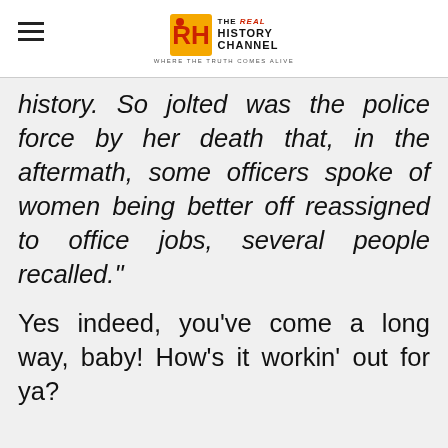THE REAL HISTORY CHANNEL — WHERE THE TRUTH COMES ALIVE
history. So jolted was the police force by her death that, in the aftermath, some officers spoke of women being better off reassigned to office jobs, several people recalled."
Yes indeed, you've come a long way, baby! How's it workin' out for ya?